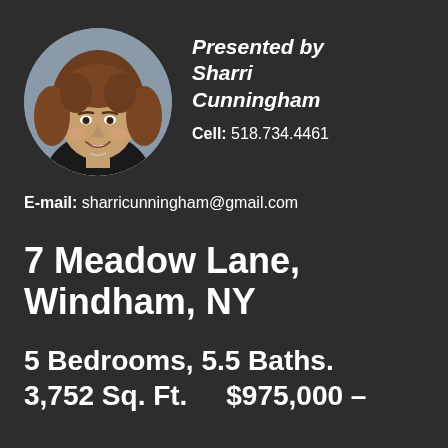[Figure (photo): Circular headshot photo of Sharri Cunningham, a woman with curly brown hair, smiling, wearing a dark top]
Presented by Sharri Cunningham
Cell: 518.734.4461
E-mail: sharricunningham@gmail.com
7 Meadow Lane, Windham, NY
5 Bedrooms, 5.5 Baths. 3,752 Sq. Ft.     $975,000 –